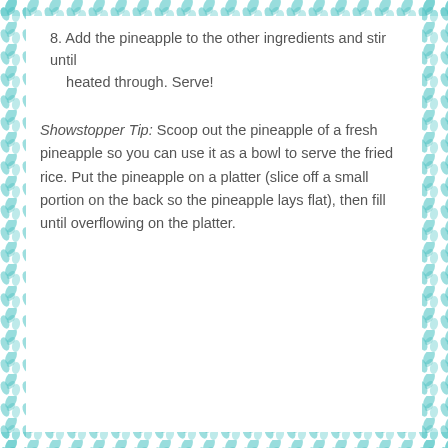8. Add the pineapple to the other ingredients and stir until heated through. Serve!
Showstopper Tip: Scoop out the pineapple of a fresh pineapple so you can use it as a bowl to serve the fried rice. Put the pineapple on a platter (slice off a small portion on the back so the pineapple lays flat), then fill until overflowing on the platter.